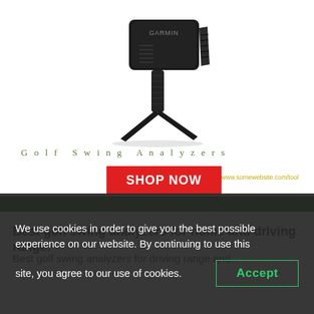[Figure (photo): Garmin golf swing analyzer device on a tripod stand, black color, on white background]
Golf Swing Analyzers
www.somewebsite.com/tool
SHOP NOW
Best golf swing analyzers for home and driving range.
We use cookies in order to give you the best possible experience on our website. By continuing to use this site, you agree to our use of cookies.
Accept